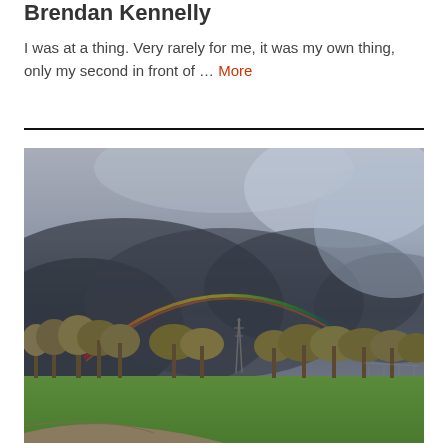Brendan Kennelly
I was at a thing. Very rarely for me, it was my own thing, only my second in front of … More
[Figure (photo): A photograph of an outdoor landscape showing a dark stormy sky with a rainbow arching down. In the middle ground there are bare winter trees and a electricity pylon. The foreground shows a green grass field and a dirt path.]